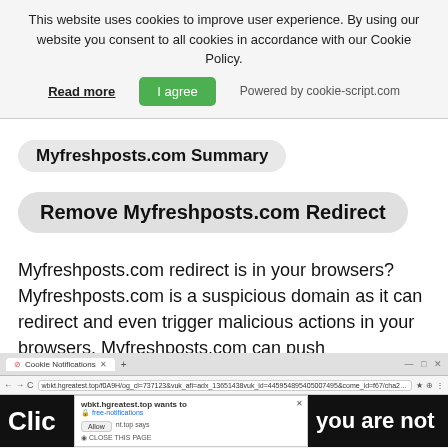This website uses cookies to improve user experience. By using our website you consent to all cookies in accordance with our Cookie Policy. Read more | I agree | Powered by cookie-script.com
Myfreshposts.com Summary
Remove Myfreshposts.com Redirect
Myfreshposts.com redirect is in your browsers? Myfreshposts.com is a suspicious domain as it can redirect and even trigger malicious actions in your browsers. Myfreshposts.com can push advertisements and redirects, but can also land you on a page with a malicious script hidden inside.
[Figure (screenshot): Browser screenshot showing a cookie notification popup and a browser dialog from wbkt.hgreatest.top requesting to send notifications, with partial text overlays 'Clic' and 'you are not' in white on black background.]